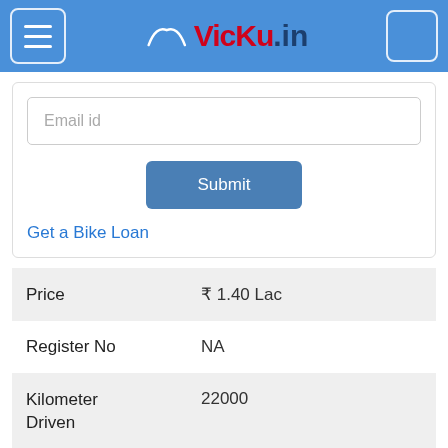vicky.in
Email id
Submit
Get a Bike Loan
| Field | Value |
| --- | --- |
| Price | ₹ 1.40 Lac |
| Register No | NA |
| Kilometer Driven | 22000 |
| Registered Year | 2015 |